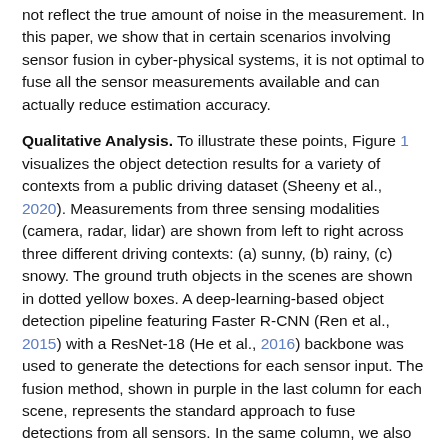not reflect the true amount of noise in the measurement. In this paper, we show that in certain scenarios involving sensor fusion in cyber-physical systems, it is not optimal to fuse all the sensor measurements available and can actually reduce estimation accuracy.
Qualitative Analysis. To illustrate these points, Figure 1 visualizes the object detection results for a variety of contexts from a public driving dataset (Sheeny et al., 2020). Measurements from three sensing modalities (camera, radar, lidar) are shown from left to right across three different driving contexts: (a) sunny, (b) rainy, (c) snowy. The ground truth objects in the scenes are shown in dotted yellow boxes. A deep-learning-based object detection pipeline featuring Faster R-CNN (Ren et al., 2015) with a ResNet-18 (He et al., 2016) backbone was used to generate the detections for each sensor input. The fusion method, shown in purple in the last column for each scene, represents the standard approach to fuse detections from all sensors. In the same column, we also show our approach, HydraFusion, that selectively fuses sensors based on the context derived from a scene. For clarity, only the highest scoring predictions for each configuration are shown in the figure.